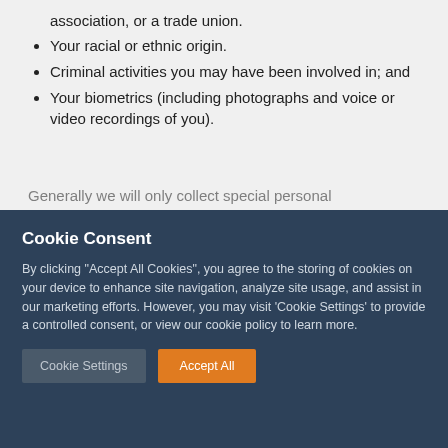association, or a trade union.
Your racial or ethnic origin.
Criminal activities you may have been involved in; and
Your biometrics (including photographs and voice or video recordings of you).
Generally we will only collect special personal
Cookie Consent
By clicking "Accept All Cookies", you agree to the storing of cookies on your device to enhance site navigation, analyze site usage, and assist in our marketing efforts. However, you may visit 'Cookie Settings' to provide a controlled consent, or view our cookie policy to learn more.